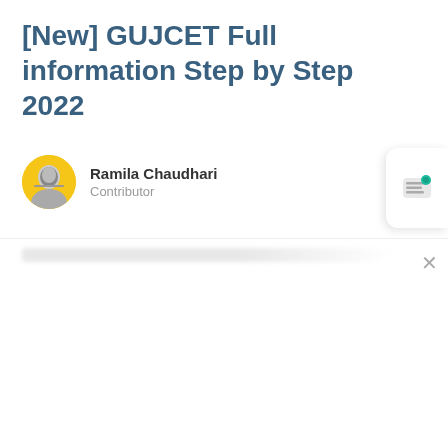[New] GUJCET Full information Step by Step 2022
Ramila Chaudhari
Contributor